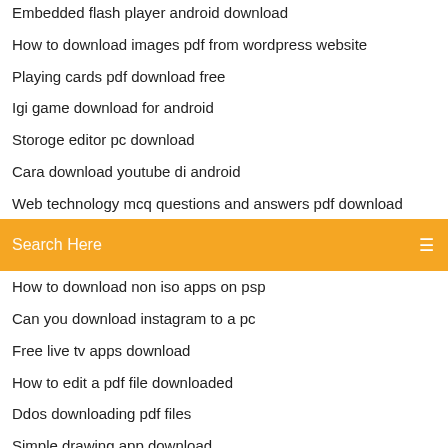Embedded flash player android download
How to download images pdf from wordpress website
Playing cards pdf download free
Igi game download for android
Storoge editor pc download
Cara download youtube di android
Web technology mcq questions and answers pdf download
[Figure (screenshot): Orange search bar with text 'Search Here' and a search icon on the right]
How to download non iso apps on psp
Can you download instagram to a pc
Free live tv apps download
How to edit a pdf file downloaded
Ddos downloading pdf files
Simple drawing app download
The station robert hastings pdf download
Error downloading the file 378.pap bdo
How to download something using a batch file
Torrent download legends of tomorrow season 4
How to force windows 10 update from download